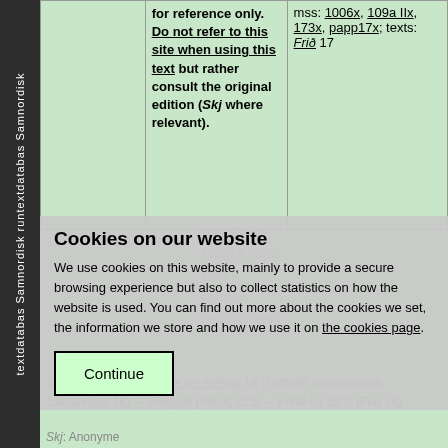|  |  |  |
| --- | --- | --- |
|  | for reference only. Do not refer to this site when using this text but rather consult the original edition (Skj where relevant). | mss: 1006x, 109a IIx, 173x, papp17x; texts: Frið 17 |
Heill Elliði, hlaup á báru, brjót í brunum tennir ok enni,
Cookies on our website
We use cookies on this website, mainly to provide a secure browsing experience but also to collect statistics on how the website is used. You can find out more about the cookies we set, the information we store and how we use it on the cookies page.
Continue
16 Vol. 8. Friðþjófs saga ins frœkna 18 (Friðþjófr Þorsteinsson, Lausavísur, 16) — Friðþjofr [Vol. 8, 215] — FriðÞ Lv 16VIII (Frið 18)
Skj: Anonyme